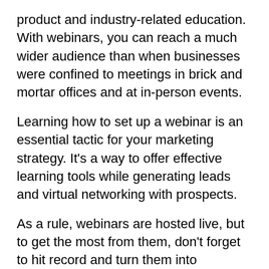product and industry-related education. With webinars, you can reach a much wider audience than when businesses were confined to meetings in brick and mortar offices and at in-person events.
Learning how to set up a webinar is an essential tactic for your marketing strategy. It's a way to offer effective learning tools while generating leads and virtual networking with prospects.
As a rule, webinars are hosted live, but to get the most from them, don't forget to hit record and turn them into evergreen content and future lead generating machines.
1. Contents
2. 1. What is a Webinar?
3. 2. The Benefits of Webinars for Business
4. 2.1 Webinars Are Easily Accessible and